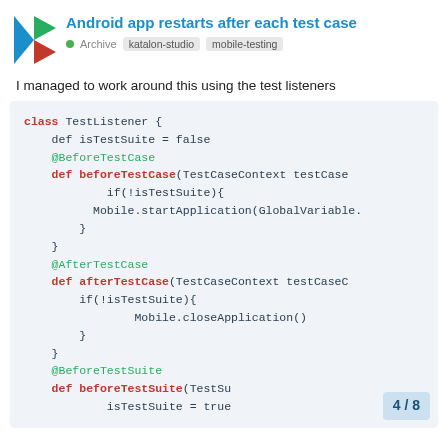Android app restarts after each test case
Archive  katalon-studio  mobile-testing
I managed to work around this using the test listeners
[Figure (screenshot): Code block showing a Groovy/Katalon TestListener class with @BeforeTestCase, @AfterTestCase, and @BeforeTestSuite annotations, methods to start/close mobile application conditionally based on isTestSuite flag]
4 / 8